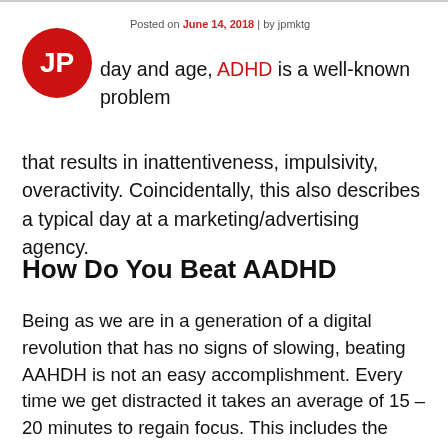Posted on June 14, 2018 | by jpmktg
[Figure (logo): JP red circular logo with white letters JP]
In this day and age, ADHD is a well-known problem that results in inattentiveness, impulsivity, overactivity. Coincidentally, this also describes a typical day at a marketing/advertising agency.
How Do You Beat AADHD
Being as we are in a generation of a digital revolution that has no signs of slowing, beating AAHDH is not an easy accomplishment. Every time we get distracted it takes an average of 15 – 20 minutes to regain focus. This includes the smallest distractions. Answering a text message, getting up to get water, changing your music, etc.